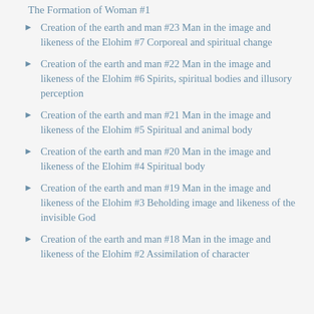The Formation of Woman #1
Creation of the earth and man #23 Man in the image and likeness of the Elohim #7 Corporeal and spiritual change
Creation of the earth and man #22 Man in the image and likeness of the Elohim #6 Spirits, spiritual bodies and illusory perception
Creation of the earth and man #21 Man in the image and likeness of the Elohim #5 Spiritual and animal body
Creation of the earth and man #20 Man in the image and likeness of the Elohim #4 Spiritual body
Creation of the earth and man #19 Man in the image and likeness of the Elohim #3 Beholding image and likeness of the invisible God
Creation of the earth and man #18 Man in the image and likeness of the Elohim #2 Assimilation of character